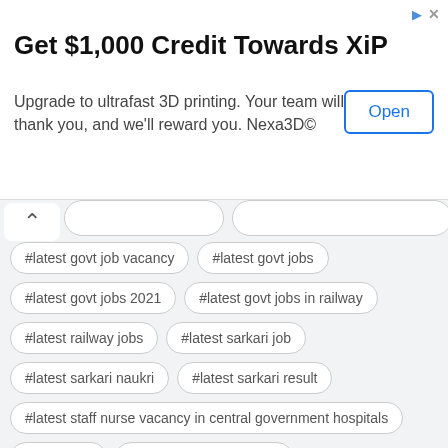[Figure (other): Advertisement banner: 'Get $1,000 Credit Towards XiP. Upgrade to ultrafast 3D printing. Your team will thank you, and we'll reward you. Nexa3D©' with an Open button.]
#latest govt job vacancy
#latest govt jobs
#latest govt jobs 2021
#latest govt jobs in railway
#latest railway jobs
#latest sarkari job
#latest sarkari naukri
#latest sarkari result
#latest staff nurse vacancy in central government hospitals
#legal jobs
#list of government jobs
#list of government jobs for civil engineers
#llb govt jobs
#mba govt jobs
#mbbs govt jobs
#mca govt jobs